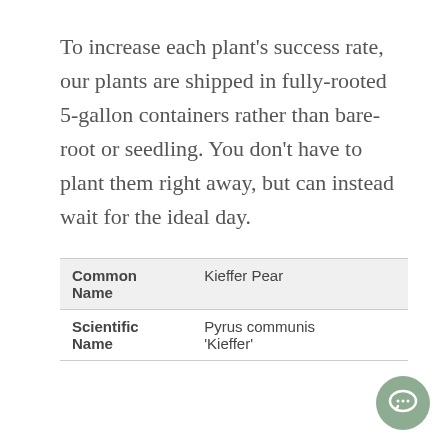To increase each plant's success rate, our plants are shipped in fully-rooted 5-gallon containers rather than bare-root or seedling. You don't have to plant them right away, but can instead wait for the ideal day.
| Common Name | Kieffer Pear |
| Scientific Name | Pyrus communis 'Kieffer' |